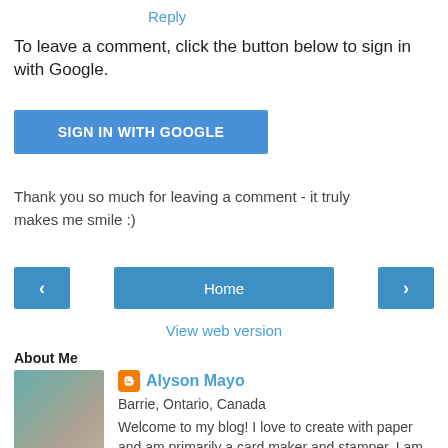Reply
To leave a comment, click the button below to sign in with Google.
[Figure (other): Blue 'SIGN IN WITH GOOGLE' button]
Thank you so much for leaving a comment - it truly makes me smile :)
[Figure (other): Navigation bar with left arrow, Home button, and right arrow]
View web version
About Me
[Figure (photo): Profile photo of Alyson Mayo, a woman with short grey hair and glasses]
Alyson Mayo
Barrie, Ontario, Canada
Welcome to my blog! I love to create with paper and am primarily a card maker and stamper. I am active on Pinterest and enjoy sharing my creations with others.